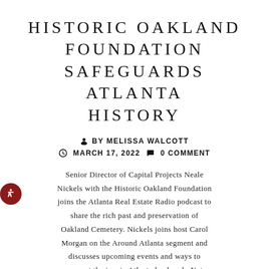HISTORIC OAKLAND FOUNDATION SAFEGUARDS ATLANTA HISTORY
BY MELISSA WALCOTT
MARCH 17, 2022   0 COMMENT
Senior Director of Capital Projects Neale Nickels with the Historic Oakland Foundation joins the Atlanta Real Estate Radio podcast to share the rich past and preservation of Oakland Cemetery. Nickels joins host Carol Morgan on the Around Atlanta segment and discusses upcoming events and ways to support the iconic Atlanta landmark. Not native to Georgia, working for the Historic